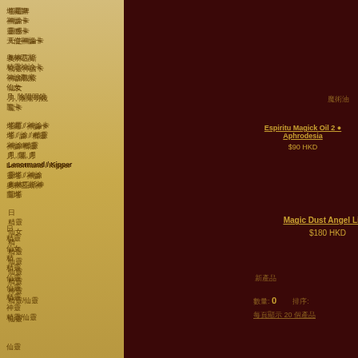塔羅牌
神諭卡
靈感卡
天使神論卡
奧林匹斯
精靈神諭卡
神諭觀察
仙女
月, 陰陽明鏡
龍卡
塔羅 / 神論卡
塔 / 諭 / 精靈
神諭/精靈
月, 陽, 月
Lenormand / Kipper
靈塔 / 神諭
奧林匹斯神
龍塔
日
精靈
仙女
精
精靈
仙靈
仙靈
精靈
神靈
精靈/仙靈
仙靈
魔術油
Espiritu Magick Oil 2 Aphrodesia
$90 HKD
Magic Dust Angel Light
$180 HKD
新產品
數量: 0   排序:   顯示
每頁顯示 20 個產品